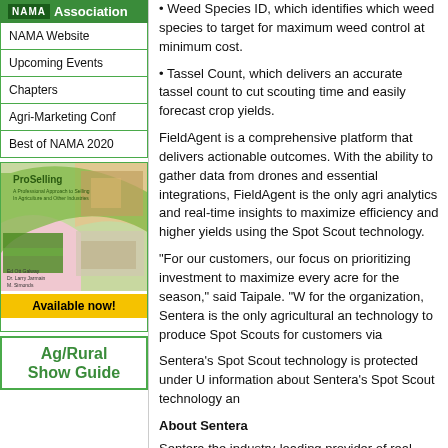NAMA Association
NAMA Website
Upcoming Events
Chapters
Agri-Marketing Conf
Best of NAMA 2020
[Figure (illustration): ProSelling book cover advertisement with 'Available now!' banner]
[Figure (logo): Ag/Rural Show Guide green bordered logo]
• Weed Species ID, which identifies which weed species to target for maximum weed control at minimum cost.
• Tassel Count, which delivers an accurate tassel count to cut scouting time and easily forecast crop yields.
FieldAgent is a comprehensive platform that delivers actionable outcomes. With the ability to gather data from drones and essential integrations, FieldAgent is the only agri analytics and real-time insights to maximize efficiency and higher yields using the Spot Scout technology.
"For our customers, our focus on prioritizing investment to maximize every acre for the season," said Taipale. "W for the organization, Sentera is the only agricultural an technology to produce Spot Scouts for customers via
Sentera's Spot Scout technology is protected under U information about Sentera's Spot Scout technology an
About Sentera
Sentera the industry-leading provider of real-time ana industry. Its FieldAgent® platform provides comprehe providers to streamline and simplify the in-season do